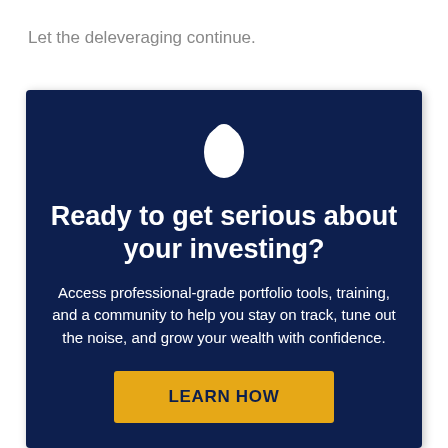Let the deleveraging continue.
[Figure (infographic): Dark navy blue advertisement box with a white egg-shaped logo icon at top, bold white headline 'Ready to get serious about your investing?', white body text about professional-grade portfolio tools, and a gold/yellow 'LEARN HOW' call-to-action button at the bottom.]